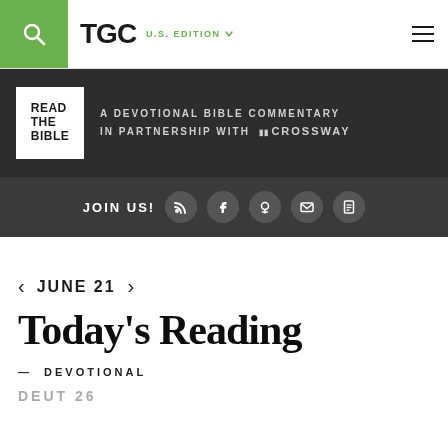TGC | U.S. EDITION
[Figure (screenshot): Read The Bible banner — A Devotional Bible Commentary in Partnership with Crossway]
JOIN US!
JUNE 21
Today's Reading
— DEVOTIONAL
DEUT 26